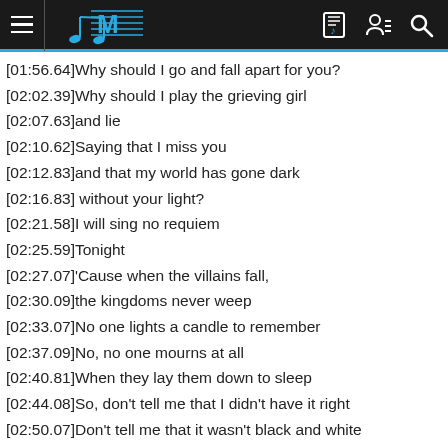Music app header with logo and navigation icons
[01:56.64]Why should I go and fall apart for you?
[02:02.39]Why should I play the grieving girl
[02:07.63]and lie
[02:10.62]Saying that I miss you
[02:12.83]and that my world has gone dark
[02:16.83] without your light?
[02:21.58]I will sing no requiem
[02:25.59]Tonight
[02:27.07]'Cause when the villains fall,
[02:30.09]the kingdoms never weep
[02:33.07]No one lights a candle to remember
[02:37.09]No, no one mourns at all
[02:40.81]When they lay them down to sleep
[02:44.08]So, don't tell me that I didn't have it right
[02:50.07]Don't tell me that it wasn't black and white
[02:55.33]After all you put me through
[02:58.57]Don't say it wasn't true